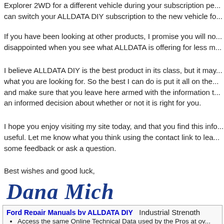Explorer 2WD for a different vehicle during your subscription pe... can switch your ALLDATA DIY subscription to the new vehicle fo...
If you have been looking at other products, I promise you will no... disappointed when you see what ALLDATA is offering for less m...
I believe ALLDATA DIY is the best product in its class, but it may... what you are looking for. So the best I can do is put it all on the... and make sure that you leave here armed with the information t... an informed decision about whether or not it is right for you.
I hope you enjoy visiting my site today, and that you find this infe... useful. Let me know what you think using the contact link to lea... some feedback or ask a question.
Best wishes and good luck,
[Figure (illustration): Handwritten cursive signature reading 'Dana Michaels' in dark blue ink]
Ford Repair Manuals by ALLDATA DIY   Industrial Strength Techni... Includes Diagrams of All Major Systems, Detailed Schematics, Diagno... Specifications, Factory Recalls, Technical Service Bulletins, OEM Part...
Access the same Online Technical Data used by the Pros at ov...
Print out the pages you need for handy reference so you keep b...
Easy-to-follow step by step Diagnostic and Repair Procedures...